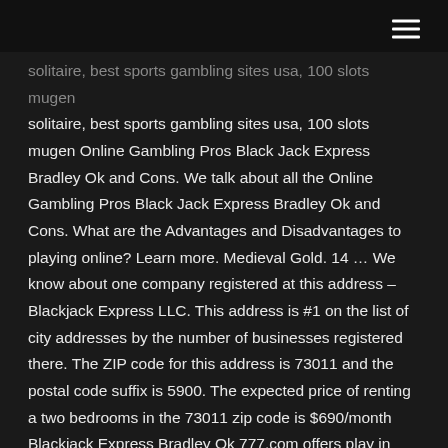solitaire, best sports gambling sites usa, 100 slots mugen Online Gambling Pros Black Jack Express Bradley Ok and Cons. We talk about all the Online Gambling Pros Black Jack Express Bradley Ok and Cons. What are the Advantages and Disadvantages to playing online? Learn more. Medieval Gold. 14 … We know about one company registered at this address – Blackjack Express LLC. This address is #1 on the list of city addresses by the number of businesses registered there. The ZIP code for this address is 73011 and the postal code suffix is 5900. The expected price of renting a two bedrooms in the 73011 zip code is $690/month Blackjack Express Bradley Ok 777.com offers play in one of the five following currencies in accordance with the member's personal preference: US Dollars